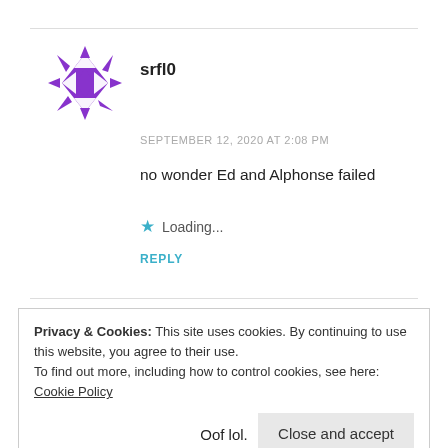[Figure (illustration): Purple geometric/diamond-pattern avatar for user srfl0]
srfl0
SEPTEMBER 12, 2020 AT 2:08 PM
no wonder Ed and Alphonse failed
★ Loading...
REPLY
Privacy & Cookies: This site uses cookies. By continuing to use this website, you agree to their use.
To find out more, including how to control cookies, see here: Cookie Policy
Close and accept
Oof lol.